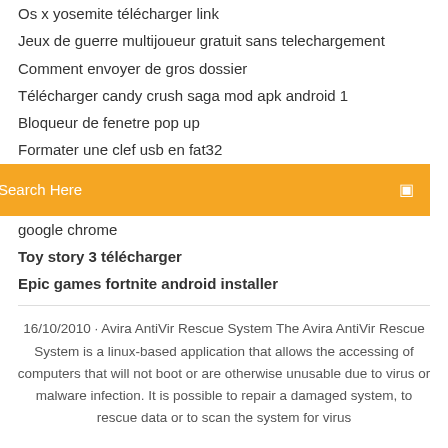Os x yosemite télécharger link
Jeux de guerre multijoueur gratuit sans telechargement
Comment envoyer de gros dossier
Télécharger candy crush saga mod apk android 1
Bloqueur de fenetre pop up
Formater une clef usb en fat32
[Figure (screenshot): Orange search bar with placeholder text 'Search Here' and a search icon on the right]
google chrome
Toy story 3 télécharger
Epic games fortnite android installer
16/10/2010 · Avira AntiVir Rescue System The Avira AntiVir Rescue System is a linux-based application that allows the accessing of computers that will not boot or are otherwise unusable due to virus or malware infection. It is possible to repair a damaged system, to rescue data or to scan the system for virus